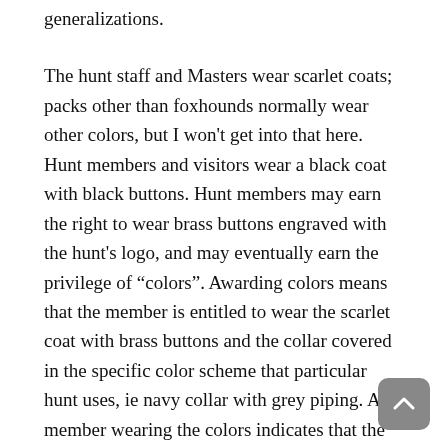generalizations.
The hunt staff and Masters wear scarlet coats; packs other than foxhounds normally wear other colors, but I won't get into that here. Hunt members and visitors wear a black coat with black buttons. Hunt members may earn the right to wear brass buttons engraved with the hunt's logo, and may eventually earn the privilege of “colors”. Awarding colors means that the member is entitled to wear the scarlet coat with brass buttons and the collar covered in the specific color scheme that particular hunt uses, ie navy collar with grey piping. A member wearing the colors indicates that the person is very knowledgeable and experienced, one that the Master and staff can count on to be level-headed and helpful, a person that visitors and new members can turn to for